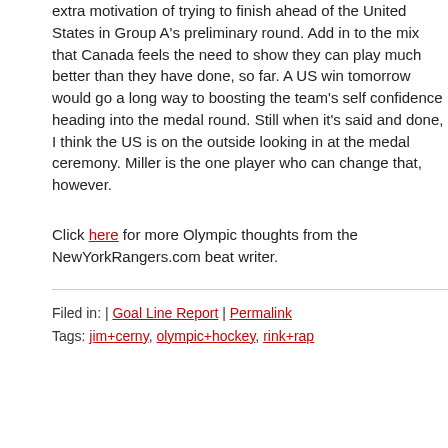extra motivation of trying to finish ahead of the United States in Group A's preliminary round. Add in to the mix that Canada feels the need to show they can play much better than they have done, so far. A US win tomorrow would go a long way to boosting the team's self confidence heading into the medal round. Still when it's said and done, I think the US is on the outside looking in at the medal ceremony. Miller is the one player who can change that, however.
Click here for more Olympic thoughts from the NewYorkRangers.com beat writer.
Filed in: | Goal Line Report | Permalink
Tags: jim+cerny, olympic+hockey, rink+rap